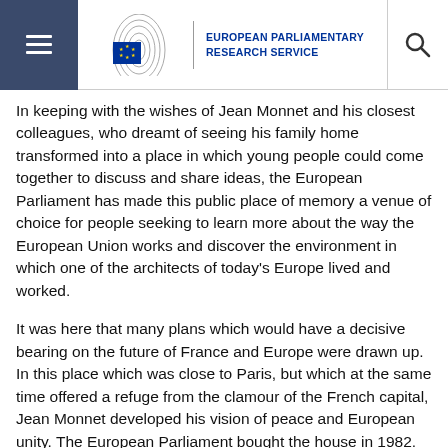European Parliamentary Research Service
In keeping with the wishes of Jean Monnet and his closest colleagues, who dreamt of seeing his family home transformed into a place in which young people could come together to discuss and share ideas, the European Parliament has made this public place of memory a venue of choice for people seeking to learn more about the way the European Union works and discover the environment in which one of the architects of today's Europe lived and worked.
It was here that many plans which would have a decisive bearing on the future of France and Europe were drawn up. In this place which was close to Paris, but which at the same time offered a refuge from the clamour of the French capital, Jean Monnet developed his vision of peace and European unity. The European Parliament bought the house in 1982. Today, managed on a day-to-day basis by the House of European History, the Jean Monnet House offers, through a permanent multimedia exhibition, an insight into both the private world of Jean Monnet and his career and political ideals. Since 2013, the Jean Monnet House has been officially recognised by the French Government as a 'Maison des illustres' and is also part of the